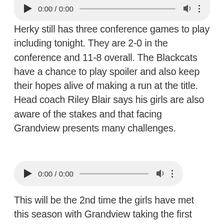[Figure (other): Audio player widget (partially visible at top): play button, 0:00 / 0:00 time display, progress bar, volume icon, more options dots]
Herky still has three conference games to play including tonight. They are 2-0 in the conference and 11-8 overall. The Blackcats have a chance to play spoiler and also keep their hopes alive of making a run at the title. Head coach Riley Blair says his girls are also aware of the stakes and that facing Grandview presents many challenges.
[Figure (other): Audio player widget: play button, 0:00 / 0:00 time display, progress bar, volume icon, more options dots]
This will be the 2nd time the girls have met this season with Grandview taking the first one 50-41 to